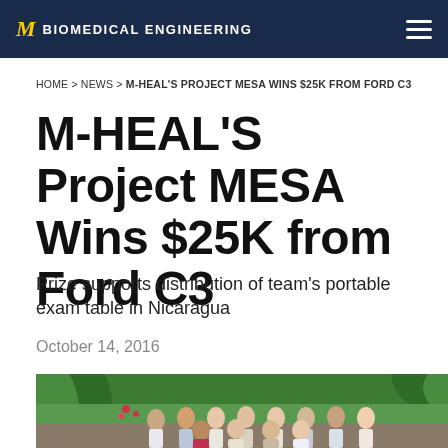M BIOMEDICAL ENGINEERING
HOME > NEWS > M-HEAL'S PROJECT MESA WINS $25K FROM FORD C3
M-HEAL'S Project MESA Wins $25K from Ford C3
Prize supports distribution of team’s portable exam table in Nicaragua
October 14, 2016
[Figure (photo): Group photo of M-HEAL team members standing outdoors in a lush green garden with tropical plants and flowers, in Nicaragua.]